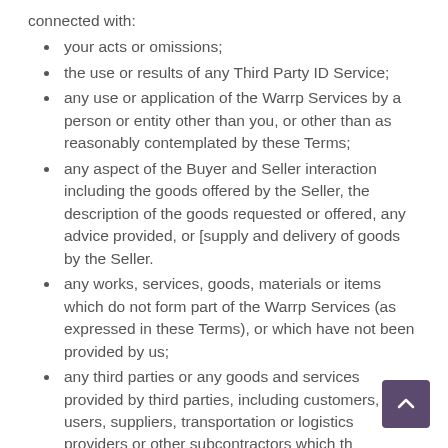connected with:
your acts or omissions;
the use or results of any Third Party ID Service;
any use or application of the Warrp Services by a person or entity other than you, or other than as reasonably contemplated by these Terms;
any aspect of the Buyer and Seller interaction including the goods offered by the Seller, the description of the goods requested or offered, any advice provided, or [supply and delivery of goods by the Seller.
any works, services, goods, materials or items which do not form part of the Warrp Services (as expressed in these Terms), or which have not been provided by us;
any third parties or any goods and services provided by third parties, including customers, end users, suppliers, transportation or logistics providers or other subcontractors which the provision of the Platform may be contingent on, or impacted by;